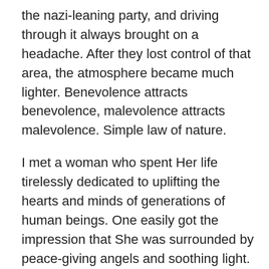the nazi-leaning party, and driving through it always brought on a headache. After they lost control of that area, the atmosphere became much lighter. Benevolence attracts benevolence, malevolence attracts malevolence. Simple law of nature.
I met a woman who spent Her life tirelessly dedicated to uplifting the hearts and minds of generations of human beings. One easily got the impression that She was surrounded by peace-giving angels and soothing light. Another time I worked on the set of a Hollywood production about Hitler here in Vienna. It was a realistic World War II setting, a hall packed with two hundred SS officers, in which I was dressed as one of them (the agency paid me 50 schillings extra for allowing them to shave my blond hair down to a formal military cut).